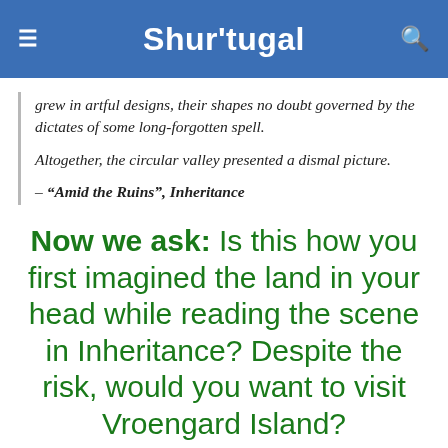Shur'tugal
grew in artful designs, their shapes no doubt governed by the dictates of some long-forgotten spell.

Altogether, the circular valley presented a dismal picture.

– "Amid the Ruins", Inheritance
Now we ask: Is this how you first imagined the land in your head while reading the scene in Inheritance? Despite the risk, would you want to visit Vroengard Island?